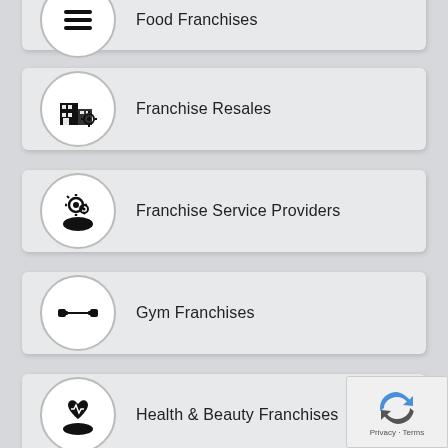Food Franchises
Franchise Resales
Franchise Service Providers
Gym Franchises
Health & Beauty Franchises
Pizza Franchises